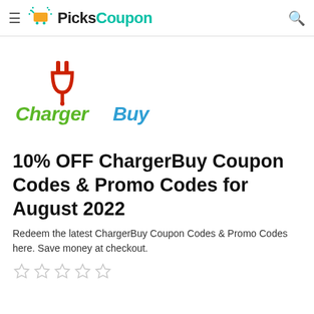≡  PicksCoupon  🔍
[Figure (logo): ChargerBuy logo: plug icon in red above the brand name, 'Charger' in green bold italic font, 'Buy' in blue bold italic font]
10% OFF ChargerBuy Coupon Codes & Promo Codes for August 2022
Redeem the latest ChargerBuy Coupon Codes & Promo Codes here. Save money at checkout.
[Figure (other): Five empty star rating icons (outlined stars, grey/light color)]